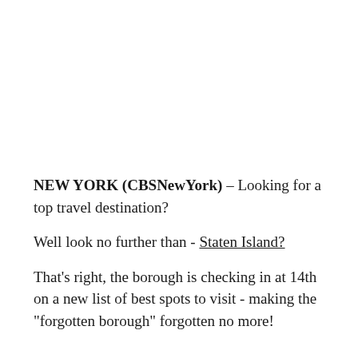NEW YORK (CBSNewYork) – Looking for a top travel destination?
Well look no further than - Staten Island?
That's right, the borough is checking in at 14th on a new list of best spots to visit - making the "forgotten borough" forgotten no more!